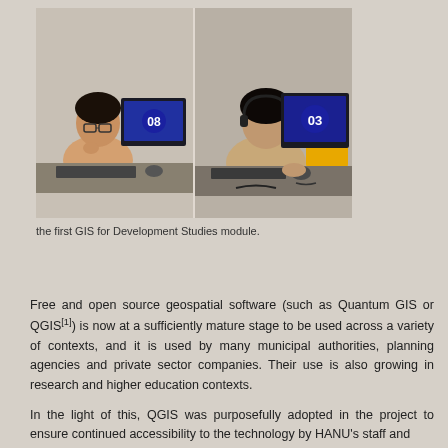[Figure (photo): Students in a computer lab working at desktop computers with monitors numbered 03 and 08. One student wears glasses and headphones, another student sits next to a yellow backpack. Multiple rows of computers visible in the background.]
the first GIS for Development Studies module.
Free and open source geospatial software (such as Quantum GIS or QGIS[1]) is now at a sufficiently mature stage to be used across a variety of contexts, and it is used by many municipal authorities, planning agencies and private sector companies. Their use is also growing in research and higher education contexts.
In the light of this, QGIS was purposefully adopted in the project to ensure continued accessibility to the technology by HANU's staff and